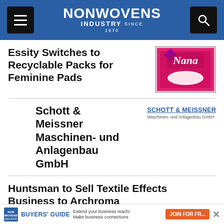NONWOVENS INDUSTRY
Essity Switches to Recyclable Packs for Feminine Pads
[Figure (photo): Pink packaging of Nana brand feminine pads product]
Schott & Meissner Maschinen- und Anlagenbau GmbH
[Figure (logo): Schott & Meissner Maschinen- und Anlagenbau GmbH logo with company name in blue text]
Huntsman to Sell Textile Effects Business to Archroma
FTC Sues PPE Maker on False Origin
NONWOVENS BUYERS' GUIDE Extend your business reach! Make business connections JOIN FOR FREE